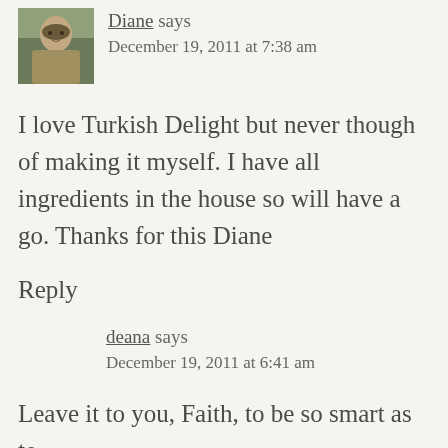[Figure (photo): Avatar photo of Diane, a person shown outdoors]
Diane says
December 19, 2011 at 7:38 am
I love Turkish Delight but never though of making it myself. I have all ingredients in the house so will have a go. Thanks for this Diane
Reply
deana says
December 19, 2011 at 6:41 am
Leave it to you, Faith, to be so smart as to